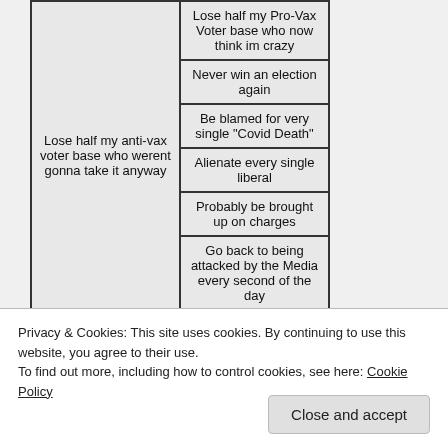[Figure (table-as-image): A two-column meme table showing consequences. Left column (partially cropped): 'Lose half my anti-vax voter base who werent gonna take it anyway'. Right column lists: 'Lose half my Pro-Vax Voter base who now think im crazy', 'Never win an election again', 'Be blamed for very single "Covid Death"', 'Alienate every single liberal', 'Probably be brought up on charges', 'Go back to being attacked by the Media every second of the day'.]
Privacy & Cookies: This site uses cookies. By continuing to use this website, you agree to their use.
To find out more, including how to control cookies, see here: Cookie Policy
Close and accept